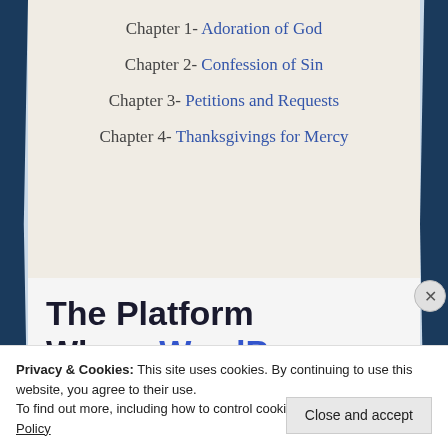Chapter 1- Adoration of God
Chapter 2- Confession of Sin
Chapter 3- Petitions and Requests
Chapter 4- Thanksgivings for Mercy
[Figure (infographic): Advertisement banner: 'The Platform Where WordPress Works Best' with a blue SEE PRICING button]
Privacy & Cookies: This site uses cookies. By continuing to use this website, you agree to their use.
To find out more, including how to control cookies, see here: Cookie Policy
Close and accept